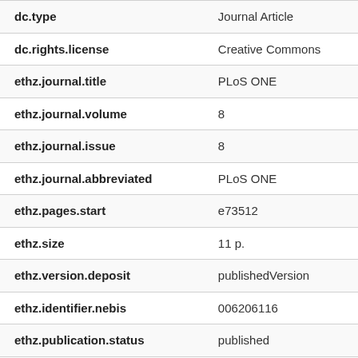| Field | Value |
| --- | --- |
| dc.type | Journal Article |
| dc.rights.license | Creative Commons |
| ethz.journal.title | PLoS ONE |
| ethz.journal.volume | 8 |
| ethz.journal.issue | 8 |
| ethz.journal.abbreviated | PLoS ONE |
| ethz.pages.start | e73512 |
| ethz.size | 11 p. |
| ethz.version.deposit | publishedVersion |
| ethz.identifier.nebis | 006206116 |
| ethz.publication.status | published |
| ethz.leitzahl | ETH Zürich::00002 |